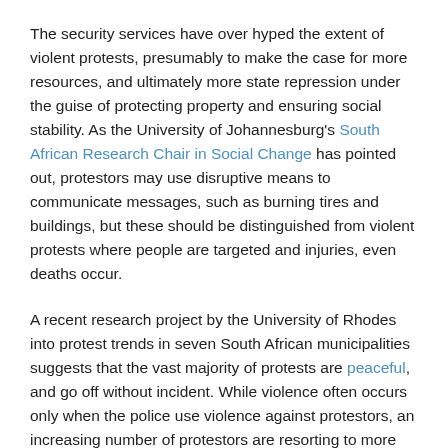The security services have over hyped the extent of violent protests, presumably to make the case for more resources, and ultimately more state repression under the guise of protecting property and ensuring social stability. As the University of Johannesburg's South African Research Chair in Social Change has pointed out, protestors may use disruptive means to communicate messages, such as burning tires and buildings, but these should be distinguished from violent protests where people are targeted and injuries, even deaths occur.
A recent research project by the University of Rhodes into protest trends in seven South African municipalities suggests that the vast majority of protests are peaceful, and go off without incident. While violence often occurs only when the police use violence against protestors, an increasing number of protestors are resorting to more disruptive means when the authorities ignore more conventional repertoires of protest. These repertoires usually involve protestors notifying the relevant municipality of their intention to protest, as required